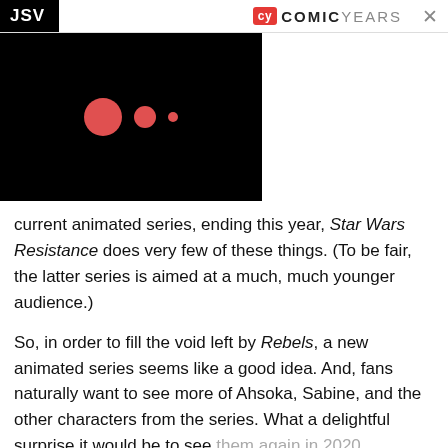JSV
[Figure (logo): Comic Years logo with red CY badge and COMICYEARS text]
[Figure (photo): Black panel with three red circles of decreasing size (large, medium, small) suggesting a loading or animation indicator]
current animated series, ending this year, Star Wars Resistance does very few of these things. (To be fair, the latter series is aimed at a much, much younger audience.)
So, in order to fill the void left by Rebels, a new animated series seems like a good idea. And, fans naturally want to see more of Ahsoka, Sabine, and the other characters from the series. What a delightful surprise it would be to see them again in 2020.